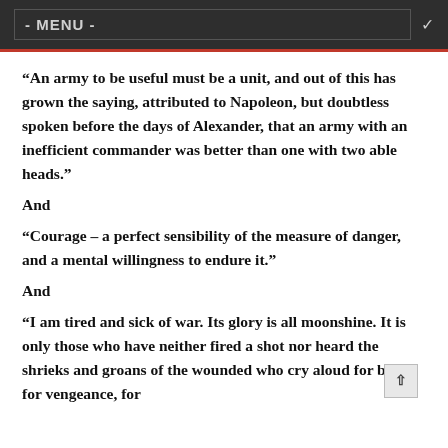- MENU -
“An army to be useful must be a unit, and out of this has grown the saying, attributed to Napoleon, but doubtless spoken before the days of Alexander, that an army with an inefficient commander was better than one with two able heads.”
And
“Courage – a perfect sensibility of the measure of danger, and a mental willingness to endure it.”
And
“I am tired and sick of war. Its glory is all moonshine. It is only those who have neither fired a shot nor heard the shrieks and groans of the wounded who cry aloud for blood, for vengeance, for desolation.”